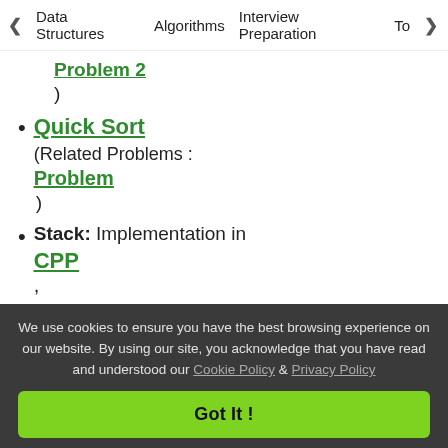< Data Structures   Algorithms   Interview Preparation   To>
Problem 2
)
Quick Sort
(Related Problems :
Problem
)
Stack: Implementation in
CPP
,
Java
,
We use cookies to ensure you have the best browsing experience on our website. By using our site, you acknowledge that you have read and understood our Cookie Policy & Privacy Policy
Got It !